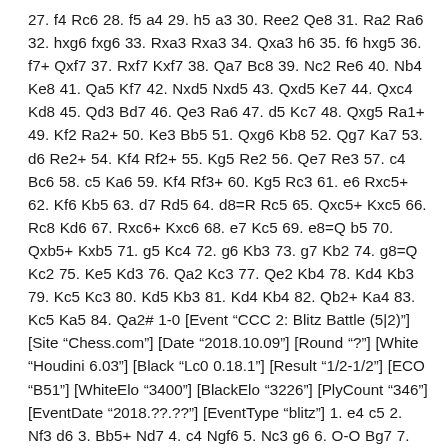27. f4 Rc6 28. f5 a4 29. h5 a3 30. Ree2 Qe8 31. Ra2 Ra6 32. hxg6 fxg6 33. Rxa3 Rxa3 34. Qxa3 h6 35. f6 hxg5 36. f7+ Qxf7 37. Rxf7 Kxf7 38. Qa7 Bc8 39. Nc2 Re6 40. Nb4 Ke8 41. Qa5 Kf7 42. Nxd5 Nxd5 43. Qxd5 Ke7 44. Qxc4 Kd8 45. Qd3 Bd7 46. Qe3 Ra6 47. d5 Kc7 48. Qxg5 Ra1+ 49. Kf2 Ra2+ 50. Ke3 Bb5 51. Qxg6 Kb8 52. Qg7 Ka7 53. d6 Re2+ 54. Kf4 Rf2+ 55. Kg5 Re2 56. Qe7 Re3 57. c4 Bc6 58. c5 Ka6 59. Kf4 Rf3+ 60. Kg5 Rc3 61. e6 Rxc5+ 62. Kf6 Kb5 63. d7 Rd5 64. d8=R Rc5 65. Qxc5+ Kxc5 66. Rc8 Kd6 67. Rxc6+ Kxc6 68. e7 Kc5 69. e8=Q b5 70. Qxb5+ Kxb5 71. g5 Kc4 72. g6 Kb3 73. g7 Kb2 74. g8=Q Kc2 75. Ke5 Kd3 76. Qa2 Kc3 77. Qe2 Kb4 78. Kd4 Kb3 79. Kc5 Kc3 80. Kd5 Kb3 81. Kd4 Kb4 82. Qb2+ Ka4 83. Kc5 Ka5 84. Qa2# 1-0 [Event “CCC 2: Blitz Battle (5|2)”] [Site “Chess.com”] [Date “2018.10.09”] [Round “?”] [White “Houdini 6.03”] [Black “Lc0 0.18.1”] [Result “1/2-1/2”] [ECO “B51”] [WhiteElo “3400”] [BlackElo “3226”] [PlyCount “346”] [EventDate “2018.??.??”] [EventType “blitz”] 1. e4 c5 2. Nf3 d6 3. Bb5+ Nd7 4. c4 Ngf6 5. Nc3 g6 6. O-O Bg7 7. d3 O-O 8. Ba4 b6 9. h3 Bb7 10. Be3 Nh5 11. Qe2 Ne5 12.